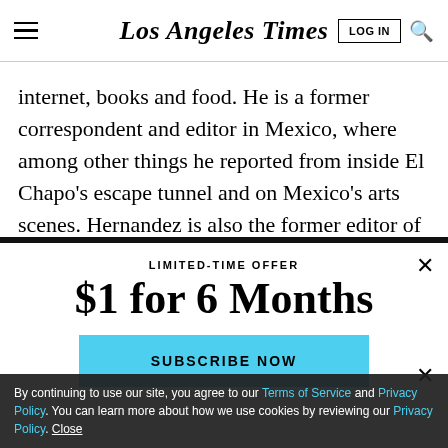Los Angeles Times
internet, books and food. He is a former correspondent and editor in Mexico, where among other things he reported from inside El Chapo's escape tunnel and on Mexico's arts scenes. Hernandez is also the former editor of L.A. Taco and began his career as a Metro
LIMITED-TIME OFFER
$1 for 6 Months
SUBSCRIBE NOW
By continuing to use our site, you agree to our Terms of Service and Privacy Policy. You can learn more about how we use cookies by reviewing our Privacy Policy. Close